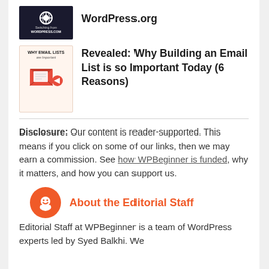[Figure (screenshot): Thumbnail image for WordPress.com to WordPress.org switching article, dark background with WordPress logo and text 'Switching from WORDPRESS.COM']
WordPress.org
[Figure (illustration): Thumbnail image for email list article with text 'WHY EMAIL LISTS are Important' and email/envelope illustration on light orange background]
Revealed: Why Building an Email List is so Important Today (6 Reasons)
Disclosure: Our content is reader-supported. This means if you click on some of our links, then we may earn a commission. See how WPBeginner is funded, why it matters, and how you can support us.
About the Editorial Staff
Editorial Staff at WPBeginner is a team of WordPress experts led by Syed Balkhi. We